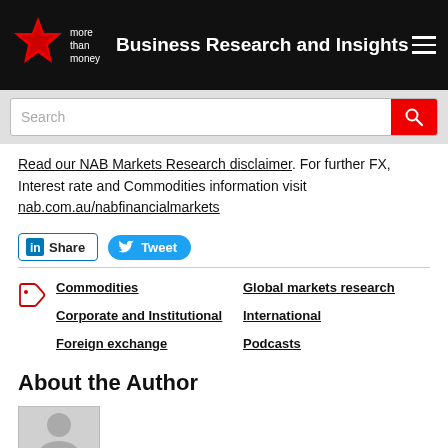Business Research and Insights
Read our NAB Markets Research disclaimer. For further FX, Interest rate and Commodities information visit nab.com.au/nabfinancialmarkets
Share
Tweet
Commodities
Global markets research
Corporate and Institutional
International
Foreign exchange
Podcasts
About the Author